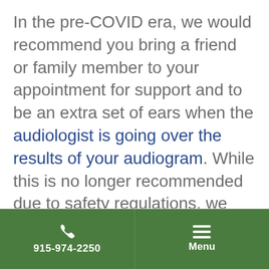In the pre-COVID era, we would recommend you bring a friend or family member to your appointment for support and to be an extra set of ears when the audiologist is going over the results of your audiogram. While this is no longer recommended due to safety regulations, we encourage you to include a loved one via phone call or FaceTime.
915-974-2250 | Menu